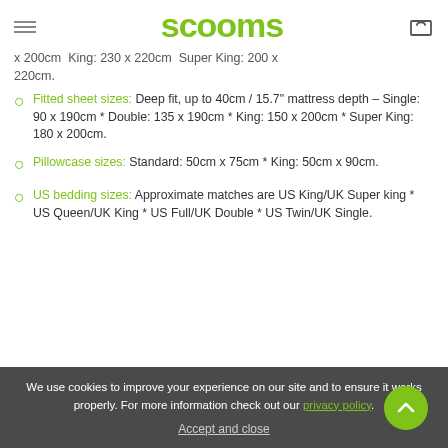scooms
x 200cm * King: 230 x 220cm * Super King: 200 x 220cm.
Fitted sheet sizes: Deep fit, up to 40cm / 15.7" mattress depth - Single: 90 x 190cm * Double: 135 x 190cm * King: 150 x 200cm * Super King: 180 x 200cm.
Pillowcase sizes: Standard: 50cm x 75cm * King: 50cm x 90cm.
US bedding sizes: Approximate matches are US King/UK Super king * US Queen/UK King * US Full/UK Double * US Twin/UK Single.
We use cookies to improve your experience on our site and to ensure it works properly. For more information check out our privacy policy.
Accept and close